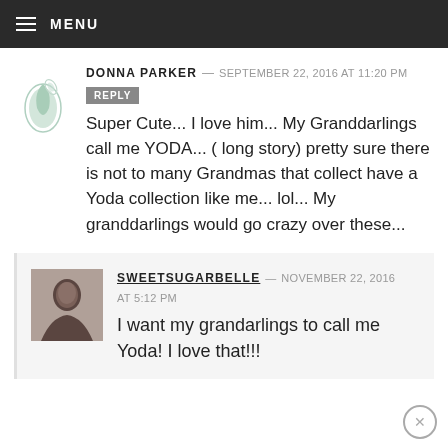MENU
DONNA PARKER — SEPTEMBER 22, 2016 AT 11:20 PM
REPLY
Super Cute... I love him... My Granddarlings call me YODA... ( long story) pretty sure there is not to many Grandmas that collect have a Yoda collection like me... lol... My granddarlings would go crazy over these...
SWEETSUGARBELLE — NOVEMBER 22, 2016 AT 5:12 PM
I want my grandarlings to call me Yoda! I love that!!!